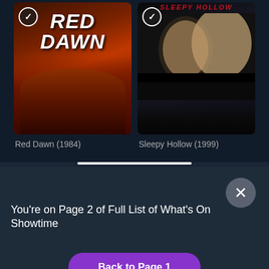[Figure (screenshot): Movie poster for Red Dawn (1984) with checkmark badge]
Red Dawn (1984)
[Figure (screenshot): Movie poster for Sleepy Hollow (1999) with checkmark badge]
Sleepy Hollow (1999)
You're on Page 2 of Full List of What's On Showtime
Back to Page 1